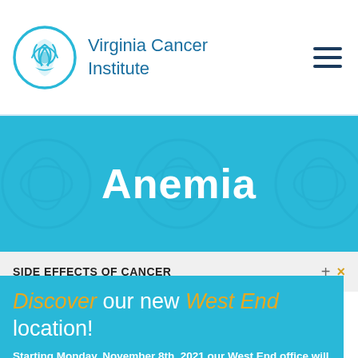Virginia Cancer Institute
Anemia
SIDE EFFECTS OF CANCER
Discover our new West End location! Starting Monday, November 8th, 2021 our West End office will be located at: 8007 Discovery Dr, Suite A, Richmond, VA 23229 Map It